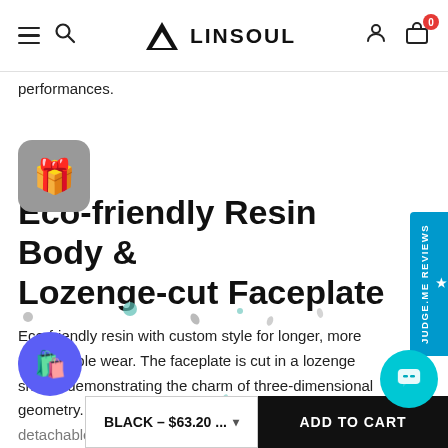LINSOUL — navigation bar with hamburger menu, search, logo, user icon, and cart (0)
performances.
[Figure (illustration): Gift box widget icon — rounded grey square with gift emoji]
Eco-friendly Resin Body & Lozenge-cut Faceplate
[Figure (illustration): Judge.me Reviews vertical sidebar tab in blue]
Eco-friendly resin with custom style for longer, more comfortable wear. The faceplate is cut in a lozenge shape, demonstrating the charm of three-dimensional geometry. MM2 IEMs look like an exquisite black with a detachable audio hole on the mid
[Figure (illustration): Purple floating shopping cart button (bottom left)]
[Figure (illustration): Teal chat widget button (bottom right)]
BLACK – $63.20 ...
ADD TO CART